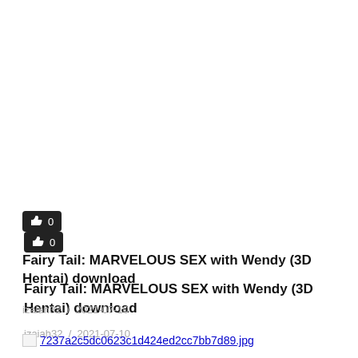[Figure (other): Like/thumbs-up button with count 0, dark rounded rectangle button]
Fairy Tail: MARVELOUS SEX with Wendy (3D Hentai) download
izaiah32  /  2021-07-10
[Figure (other): Broken image placeholder with filename 7237a2c5dc0623c1d424ed2cc7bb7d89.jpg]